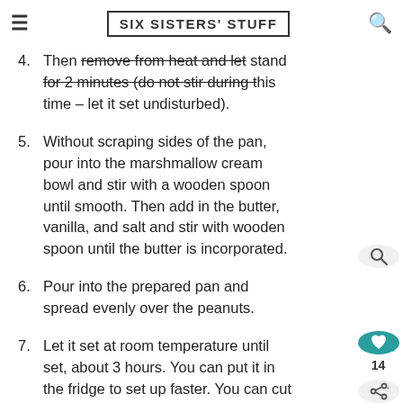SIX SISTERS' STUFF
4. Then remove from heat and let stand for 2 minutes (do not stir during this time – let it set undisturbed).
5. Without scraping sides of the pan, pour into the marshmallow cream bowl and stir with a wooden spoon until smooth. Then add in the butter, vanilla, and salt and stir with wooden spoon until the butter is incorporated.
6. Pour into the prepared pan and spread evenly over the peanuts.
7. Let it set at room temperature until set, about 3 hours. You can put it in the fridge to set up faster. You can cut them up and wrap in waxed paper. After cutting them in squares we turned them upside down so you